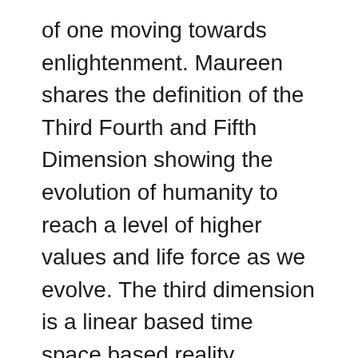of one moving towards enlightenment. Maureen shares the definition of the Third Fourth and Fifth Dimension showing the evolution of humanity to reach a level of higher values and life force as we evolve. The third dimension is a linear based time space based reality incorporating Physical Mental Emotion Etheric aspects of our energy and is here in a physical life which concerns itself with cause and effect features. The Fourth Dimension which is a vortex energy located on the Astral Plane is emotion based and of high intensity where a whirlwind effect is noticed. Sheryl likens it to the political nature of life at the present moment and a state or portal we are only rapidly moving through which is the future correct and